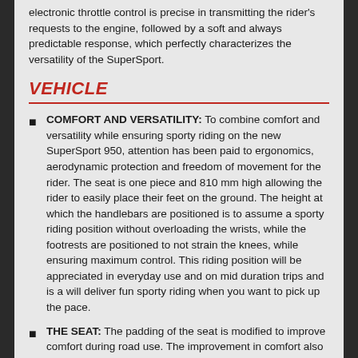electronic throttle control is precise in transmitting the rider's requests to the engine, followed by a soft and always predictable response, which perfectly characterizes the versatility of the SuperSport.
VEHICLE
COMFORT AND VERSATILITY: To combine comfort and versatility while ensuring sporty riding on the new SuperSport 950, attention has been paid to ergonomics, aerodynamic protection and freedom of movement for the rider. The seat is one piece and 810 mm high allowing the rider to easily place their feet on the ground. The height at which the handlebars are positioned is to assume a sporty riding position without overloading the wrists, while the footrests are positioned to not strain the knees, while ensuring maximum control. This riding position will be appreciated in everyday use and on mid duration trips and is a will deliver fun sporty riding when you want to pick up the pace.
THE SEAT: The padding of the seat is modified to improve comfort during road use. The improvement in comfort also includes new and